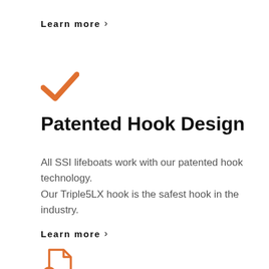Learn more >
[Figure (illustration): Orange checkmark icon]
Patented Hook Design
All SSI lifeboats work with our patented hook technology.
Our Triple5LX hook is the safest hook in the industry.
Learn more >
[Figure (illustration): Orange certificate/document icon at bottom]